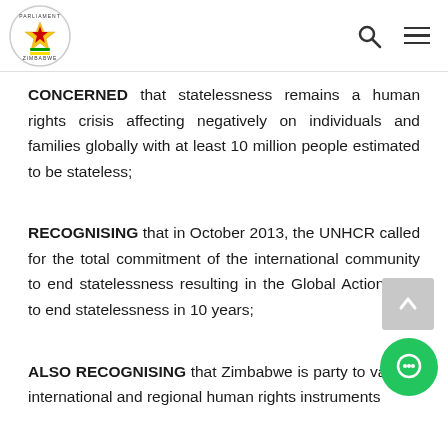Parliament of Zimbabwe header with logo, search icon, and menu icon
CONCERNED that statelessness remains a human rights crisis affecting negatively on individuals and families globally with at least 10 million people estimated to be stateless;
RECOGNISING that in October 2013, the UNHCR called for the total commitment of the international community to end statelessness resulting in the Global Action plan to end statelessness in 10 years;
ALSO RECOGNISING that Zimbabwe is party to various international and regional human rights instruments